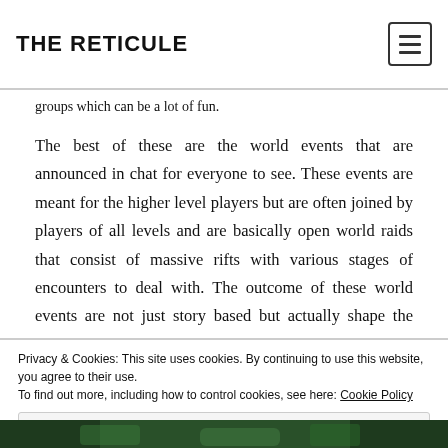THE RETICULE
groups which can be a lot of fun.
The best of these are the world events that are announced in chat for everyone to see. These events are meant for the higher level players but are often joined by players of all levels and are basically open world raids that consist of massive rifts with various stages of encounters to deal with. The outcome of these world events are not just story based but actually shape the game and leave their mark on the
Privacy & Cookies: This site uses cookies. By continuing to use this website, you agree to their use.
To find out more, including how to control cookies, see here: Cookie Policy
Close and accept
[Figure (photo): Bottom strip showing a dark green outdoor/nature scene]